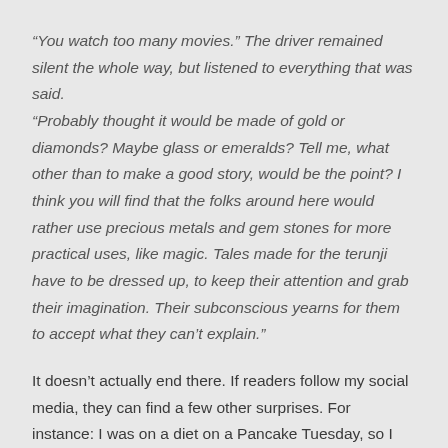“You watch too many movies.” The driver remained silent the whole way, but listened to everything that was said. “Probably thought it would be made of gold or diamonds? Maybe glass or emeralds? Tell me, what other than to make a good story, would be the point? I think you will find that the folks around here would rather use precious metals and gem stones for more practical uses, like magic. Tales made for the terunji have to be dressed up, to keep their attention and grab their imagination. Their subconscious yearns for them to accept what they can’t explain.”
It doesn’t actually end there. If readers follow my social media, they can find a few other surprises. For instance: I was on a diet on a Pancake Tuesday, so I created a scene in Deadly Perceptions where my characters are eating pancakes. The movie is also in the Deadly Perceptions...